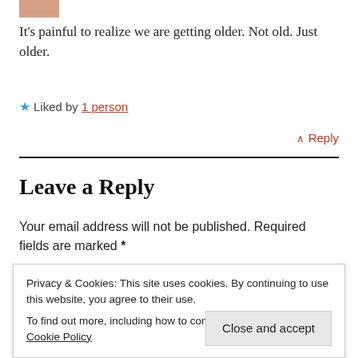[Figure (photo): Small avatar photo of a person, partially cropped at top]
It's painful to realize we are getting older. Not old. Just older.
★ Liked by 1 person
∧ Reply
Leave a Reply
Your email address will not be published. Required fields are marked *
Privacy & Cookies: This site uses cookies. By continuing to use this website, you agree to their use.
To find out more, including how to control cookies, see here: Cookie Policy